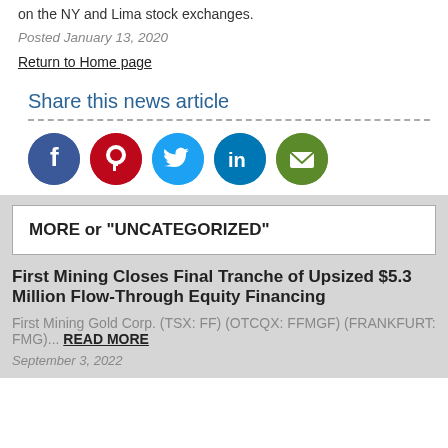on the NY and Lima stock exchanges.
Posted January 13, 2020
Return to Home page
Share this news article
[Figure (infographic): Social media share icons: Facebook, Pinterest, Twitter, LinkedIn, Email]
MORE or "UNCATEGORIZED"
First Mining Closes Final Tranche of Upsized $5.3 Million Flow-Through Equity Financing
First Mining Gold Corp. (TSX: FF) (OTCQX: FFMGF) (FRANKFURT: FMG)...
READ MORE
September 3, 2022